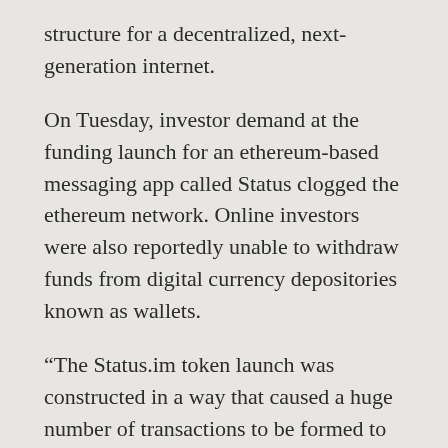structure for a decentralized, next-generation internet.

On Tuesday, investor demand at the funding launch for an ethereum-based messaging app called Status clogged the ethereum network. Online investors were also reportedly unable to withdraw funds from digital currency depositories known as wallets.

“The Status.im token launch was constructed in a way that caused a huge number of transactions to be formed to chase purchases of the token, so the pools of unprocessed transactions grew